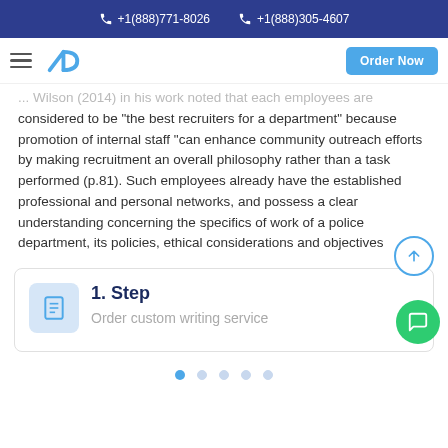+1(888)771-8026   +1(888)305-4607
... Wilson (2014) in his work noted that each employees are considered to be "the best recruiters for a department" because promotion of internal staff "can enhance community outreach efforts by making recruitment an overall philosophy rather than a task performed (p.81). Such employees already have the established professional and personal networks, and possess a clear understanding concerning the specifics of work of a police department, its policies, ethical considerations and objectives
1. Step
Order custom writing service